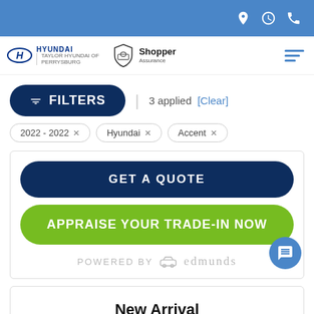Hyundai | Taylor Hyundai of Perrysburg | Shopper Assurance
FILTERS | 3 applied [Clear]
2022 - 2022 × | Hyundai × | Accent ×
GET A QUOTE
APPRAISE YOUR TRADE-IN NOW
POWERED BY edmunds
New Arrival